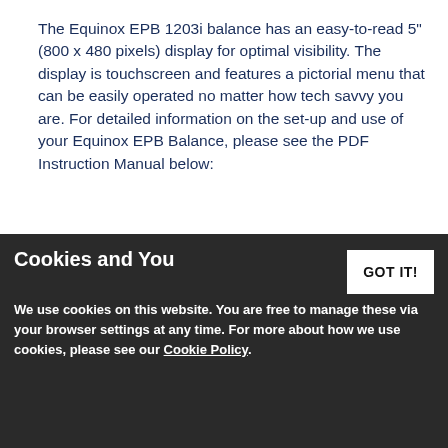The Equinox EPB 1203i balance has an easy-to-read 5" (800 x 480 pixels) display for optimal visibility. The display is touchscreen and features a pictorial menu that can be easily operated no matter how tech savvy you are. For detailed information on the set-up and use of your Equinox EPB Balance, please see the PDF Instruction Manual below:
User Instructions for the Equinox EPB 1203i Precision Balance
[Figure (illustration): PDF file icon in red and dark colors]
Cookies and You
We use cookies on this website. You are free to manage these via your browser settings at any time. For more about how we use cookies, please see our Cookie Policy.
How Do I Calibrate the Equinox EPB 1203i